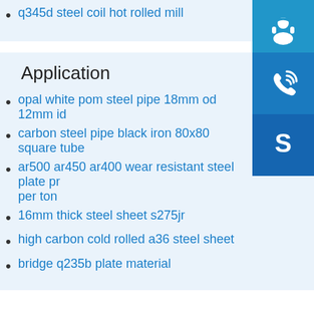q345d steel coil hot rolled mill
Application
opal white pom steel pipe 18mm od 12mm id
carbon steel pipe black iron 80x80 square tube
ar500 ar450 ar400 wear resistant steel plate pr per ton
16mm thick steel sheet s275jr
high carbon cold rolled a36 steel sheet
bridge q235b plate material
[Figure (illustration): Headset/customer support icon on blue background]
[Figure (illustration): Phone with signal waves icon on blue background]
[Figure (illustration): Skype logo icon on blue background]